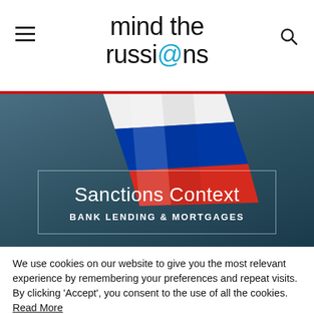mind the russi@ns
[Figure (screenshot): Hero image showing a 3D rendered Russian flag (white, blue, red horizontal stripes) waving against a dark teal/blue-grey gradient background, with an overlay text box showing 'Sanctions Context' and 'BANK LENDING & MORTGAGES']
We use cookies on our website to give you the most relevant experience by remembering your preferences and repeat visits. By clicking 'Accept', you consent to the use of all the cookies. Read More
Cookie Settings   Accept